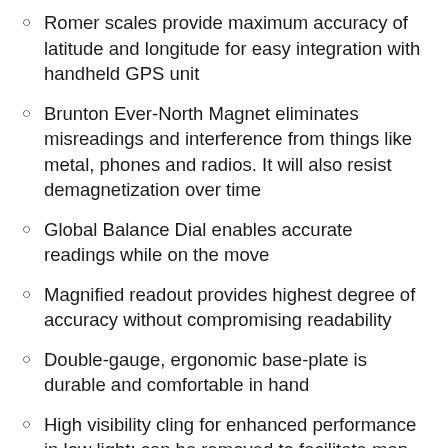Romer scales provide maximum accuracy of latitude and longitude for easy integration with handheld GPS unit
Brunton Ever-North Magnet eliminates misreadings and interference from things like metal, phones and radios. It will also resist demagnetization over time
Global Balance Dial enables accurate readings while on the move
Magnified readout provides highest degree of accuracy without compromising readability
Double-gauge, ergonomic base-plate is durable and comfortable in hand
High visibility cling for enhanced performance in low light; can be removed to facilitate map use